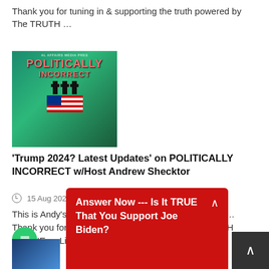Thank you for tuning in & supporting the truth powered by The TRUTH …
[Figure (illustration): Politically Incorrect show graphic with crosses, US flag, and teal background]
'Trump 2024? Latest Updates' on POLITICALLY INCORRECT w/Host Andrew Shecktor
15 Aug 2022
This is Andy's LIVE Show Thursday, August 11, 2022 …Thank you for tuning in & helping to KEEP THE TRUTH ONLINE … Listen Here!
Answer Now --- Is It TRUE That You Support Joe Biden?